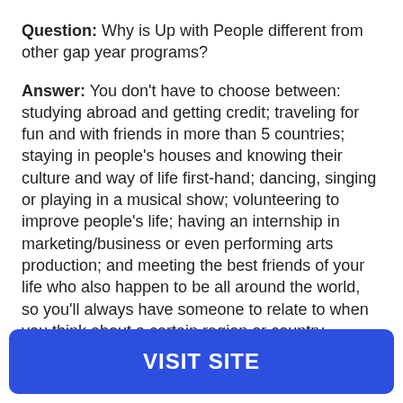Question: Why is Up with People different from other gap year programs?
Answer: You don't have to choose between: studying abroad and getting credit; traveling for fun and with friends in more than 5 countries; staying in people's houses and knowing their culture and way of life first-hand; dancing, singing or playing in a musical show; volunteering to improve people's life; having an internship in marketing/business or even performing arts production; and meeting the best friends of your life who also happen to be all around the world, so you'll always have someone to relate to when you think about a certain region or country.
VISIT SITE